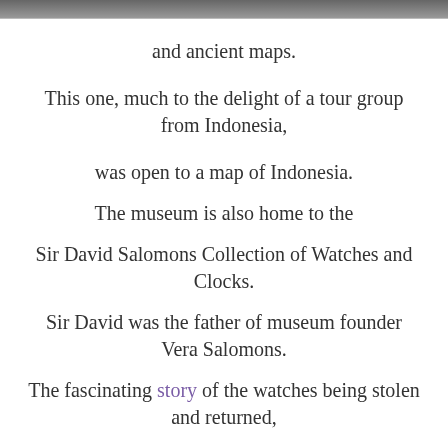[Figure (photo): Partial photo strip at the top of the page (cropped image, mostly dark/grey)]
and ancient maps.
This one, much to the delight of a tour group from Indonesia,
was open to a map of Indonesia.
The museum is also home to the
Sir David Salomons Collection of Watches and Clocks.
Sir David was the father of museum founder Vera Salomons.
The fascinating story of the watches being stolen and returned,
and now deposited in a safe room in the Islamic Museum,